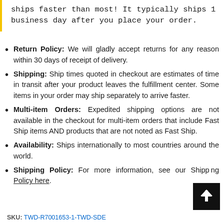ships faster than most! It typically ships 1 business day after you place your order.
Return Policy: We will gladly accept returns for any reason within 30 days of receipt of delivery.
Shipping: Ship times quoted in checkout are estimates of time in transit after your product leaves the fulfillment center. Some items in your order may ship separately to arrive faster.
Multi-item Orders: Expedited shipping options are not available in the checkout for multi-item orders that include Fast Ship items AND products that are not noted as Fast Ship.
Availability: Ships internationally to most countries around the world.
Shipping Policy: For more information, see our Shipping Policy here.
SKU: TWD-R7001653-1-TWD-SDE